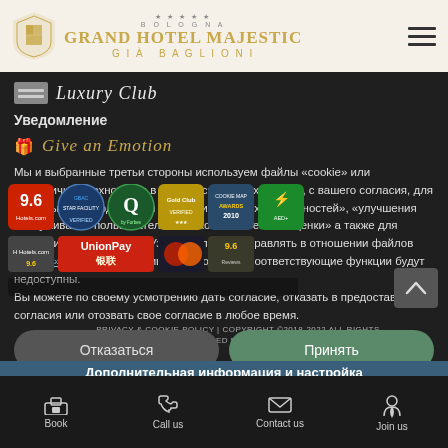[Figure (logo): Grand Hotel Majestic Già Baglioni – Bologna 5-star hotel logo with shield emblem]
Luxury Club
Уведомление
Give an Emotion
Мы и выбранные третьи стороны используем файлы «cookie» или аналогичные технологии в технических целях а также, с вашего согласия, для «базовых взаимодействий и функциональных возможностей», «улучшения обслуживания пользователей» и «количественной оценки» а также для «таргетинга и рекламы». Узнать больше и управлять в отношении файлов «cookie». Отказ может привести к тому, что соответствующие функции будут недоступны. Вы можете по своему усмотрению дать согласие, отказать в предоставлении согласия или отозвать свое согласие в любое время.
[Figure (infographic): Badge collage showing Hotels.com 9.6, GBAC Star Facility verified, Q verified by Forbes, gold award badge, Cookie Map Awards 2010, AED defibrillator badge, UnionPay, 银联 payment logos, Mastercard]
PRIVACY & COOKIE POLICY | COPYRIGHT ©2018-2022 ALL RIGHTS RESERVED POWERED BY SYSDAT TURISMO SRL
Отказаться
Принять
Дополнительная информация и настройка
Book
Call us
Contact us
Join us